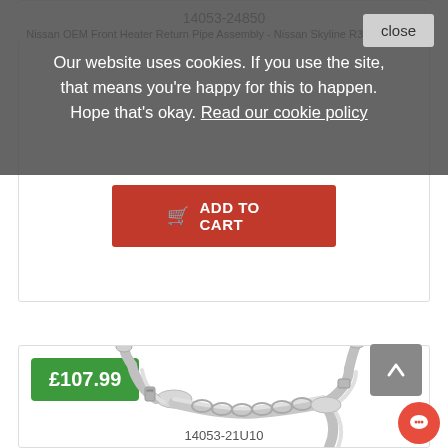Our website uses cookies. If you use the site, that means you're happy for this to happen. Hope that's okay. Read our cookie policy
14053-24850
Nissan OEM Front Heater Return Pipe Assembly - Nissan Skyline R33 R34 GT-R
ADD TO CART
£107.99
[Figure (photo): Nissan OEM Front Heater Return Pipe Assembly - a metal pipe assembly with multiple bends and connectors, silver/chrome colored, for Nissan Skyline R33/R34 GT-R]
14053-21U10